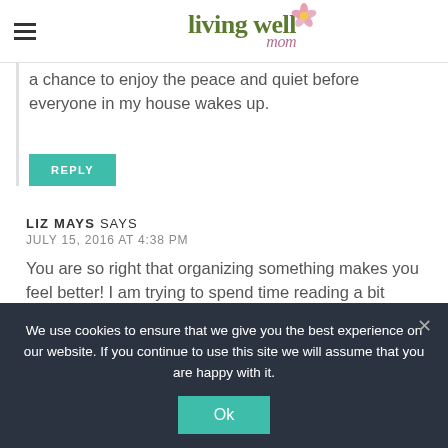living well mom
a chance to enjoy the peace and quiet before everyone in my house wakes up.
REPLY
LIZ MAYS SAYS
JULY 15, 2016 AT 4:38 PM
You are so right that organizing something makes you feel better! I am trying to spend time reading a bit each
We use cookies to ensure that we give you the best experience on our website. If you continue to use this site we will assume that you are happy with it.
Ok